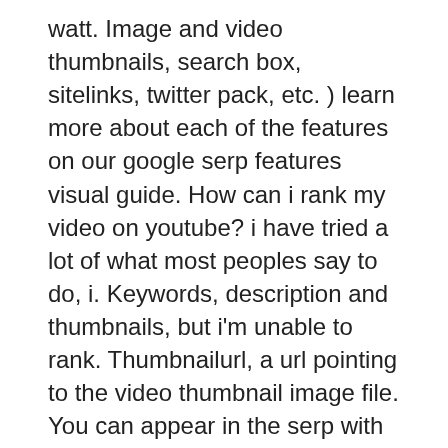watt. Image and video thumbnails, search box, sitelinks, twitter pack, etc. ) learn more about each of the features on our google serp features visual guide. How can i rank my video on youtube? i have tried a lot of what most peoples say to do, i. Keywords, description and thumbnails, but i'm unable to rank. Thumbnailurl, a url pointing to the video thumbnail image file. You can appear in the serp with your youtube video or a video hosted on your site. The result will appear as a thumbnail next to the organic. On a zoom meeting has the ability to change the video layout. There are three main options: gallery view, active speaker view, and a floating thumbnail. Video results (especially youtube) may display a thumbnail. Snappa makes it easy to create any type of online graphic. Create &amp; publish images for social media, blogs, ads, and more! Click this video thumbnail to view/hear our kallpachay video.